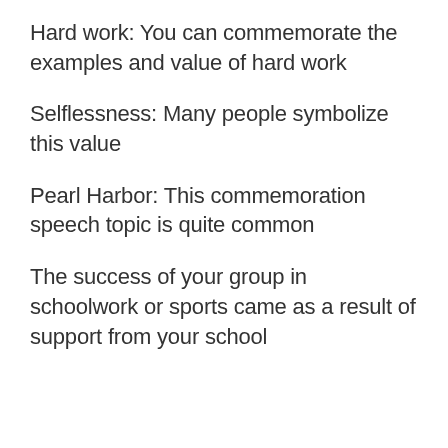Hard work: You can commemorate the examples and value of hard work
Selflessness: Many people symbolize this value
Pearl Harbor: This commemoration speech topic is quite common
The success of your group in schoolwork or sports came as a result of support from your school